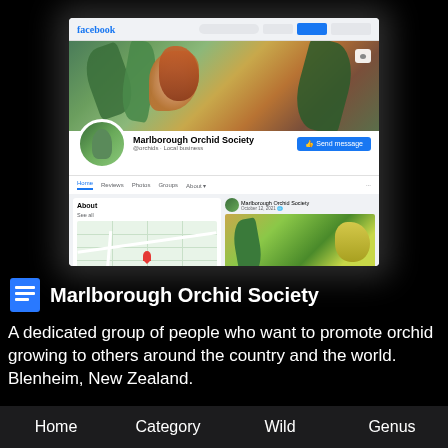[Figure (screenshot): Facebook page screenshot for Marlborough Orchid Society showing cover photo with orchid flowers, profile picture, page name, Follow button, navigation tabs (Home, Reviews, Photos, Groups, About), and About section with map and a post with orchid image.]
Marlborough Orchid Society
A dedicated group of people who want to promote orchid growing to others around the country and the world. Blenheim, New Zealand.
Home  Category  Wild  Genus